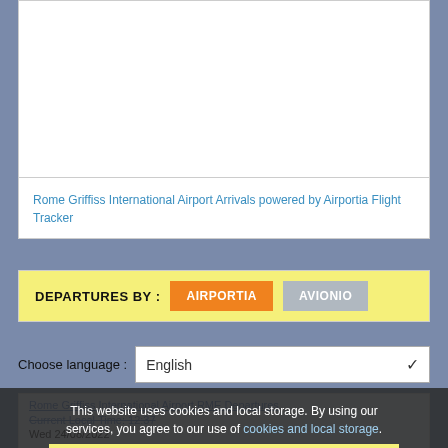[Figure (screenshot): White box area - top portion of a web page (empty/blank content area)]
Rome Griffiss International Airport Arrivals powered by Airportia Flight Tracker
DEPARTURES BY :
AIRPORTIA
AVIONIO
Choose language :
English
Rome Griffiss International Airport RME Departures
Current Local Time: 12:37
Wed 24/08/2022
This website uses cookies and local storage. By using our services, you agree to our use of cookies and local storage.
I AGREE